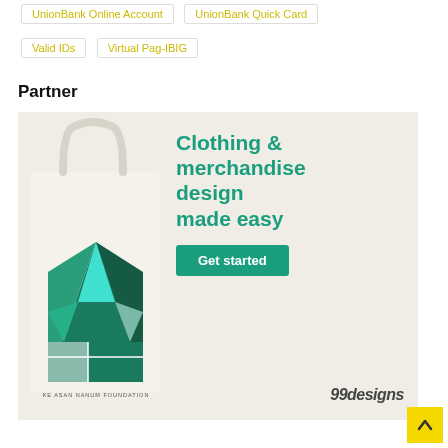UnionBank Online Account
UnionBank Quick Card
Valid IDs
Virtual Pag-IBIG
Partner
[Figure (illustration): Advertisement banner for 99designs showing a tote bag with geometric teal/green design on the left, and the text 'Clothing & merchandise design made easy' with a 'Get started' button and the 99designs logo on the right.]